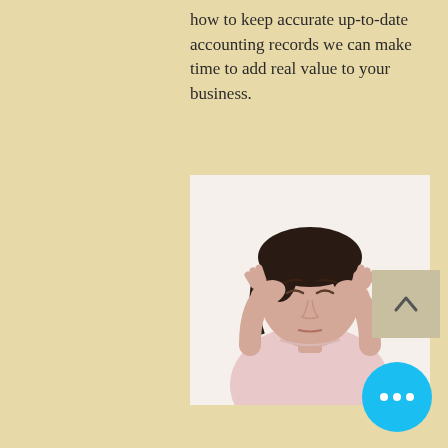how to keep accurate up-to-date accounting records we can make time to add real value to your business.
[Figure (photo): Woman with eyes closed, pressing temples with both hands, appearing stressed or with a headache, wearing a light pink top, white background.]